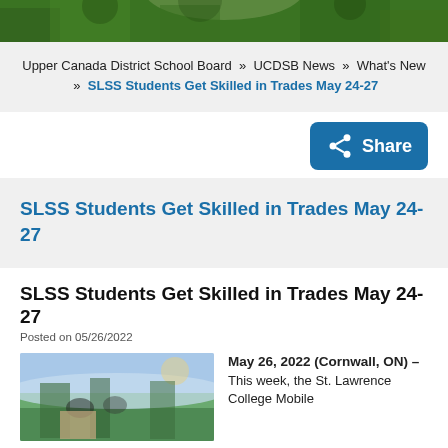[Figure (photo): Top banner photo showing outdoor scene with greenery]
Upper Canada District School Board » UCDSB News » What's New » SLSS Students Get Skilled in Trades May 24-27
[Figure (other): Share button with share icon]
SLSS Students Get Skilled in Trades May 24-27
SLSS Students Get Skilled in Trades May 24-27
Posted on 05/26/2022
[Figure (photo): Photo of students working outdoors on trades activity]
May 26, 2022 (Cornwall, ON) – This week, the St. Lawrence College Mobile